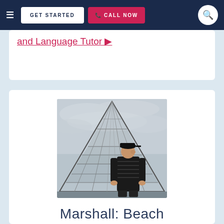GET STARTED | CALL NOW
and Language Tutor ▶
[Figure (photo): Person standing in front of the glass pyramid at the Louvre museum in Paris, looking upward. The geometric glass and metal structure fills the background against an overcast sky. The person is wearing a black striped polo shirt.]
Marshall: Beach